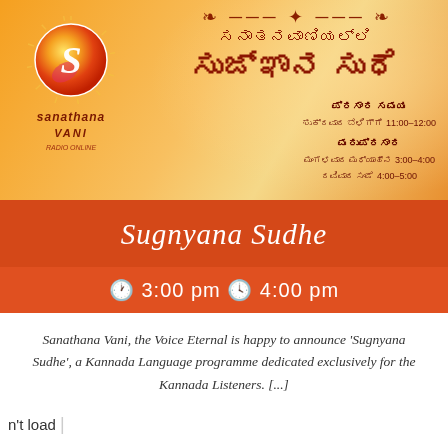[Figure (illustration): Sanathana Vani radio show banner in Kannada. Shows the Sanathana Vani logo (orange/yellow circle with S) on the left, and Kannada text reading 'ಸನಾತನವಾಣಿಯಲ್ಲಿ ಸುಜ್ಞಾನ ಸುಧೆ' (Sugnyana Sudhe on Sanathana Vani) on right with schedule information on warm orange background.]
Sugnyana Sudhe
🕐 3:00 pm 🕓 4:00 pm
Sanathana Vani, the Voice Eternal is happy to announce 'Sugnyana Sudhe', a Kannada Language programme dedicated exclusively for the Kannada Listeners. [...]
n't load |